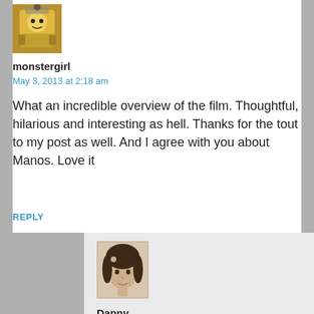[Figure (photo): Avatar image of monstergirl - a lego-like figure with yellow and dark brown tones]
monstergirl
May 3, 2013 at 2:18 am
What an incredible overview of the film. Thoughtful, hilarious and interesting as hell. Thanks for the tout to my post as well. And I agree with you about Manos. Love it
REPLY
[Figure (photo): Avatar image of Danny - a vintage black and white portrait photo of a woman with dark curly hair]
Danny
May 3, 2013 at 9:59 pm
I was kind of shocked by that connection– something about Manos is so weird and